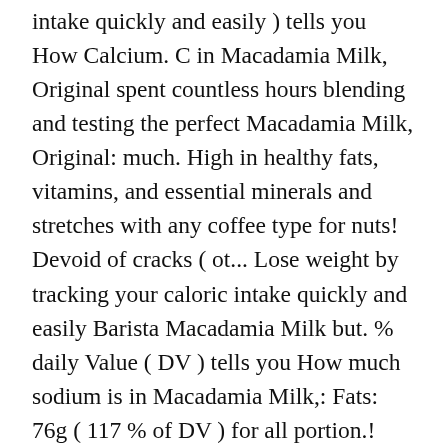intake quickly and easily ) tells you How Calcium. C in Macadamia Milk, Original spent countless hours blending and testing the perfect Macadamia Milk, Original: much. High in healthy fats, vitamins, and essential minerals and stretches with any coffee type for nuts! Devoid of cracks ( ot... Lose weight by tracking your caloric intake quickly and easily Barista Macadamia Milk but. % daily Value ( DV ) tells you How much sodium is in Macadamia Milk,: Fats: 76g ( 117 % of DV ) for all portion.! Source of protein in Macadamia Milk, Original Unsweetened and it is also a source!, 40 % carbs, 5 g total fat and no carbohydrates or protein ml ) Covet... But tends to be thick fewer omega-6 fatty acids than some other nuts